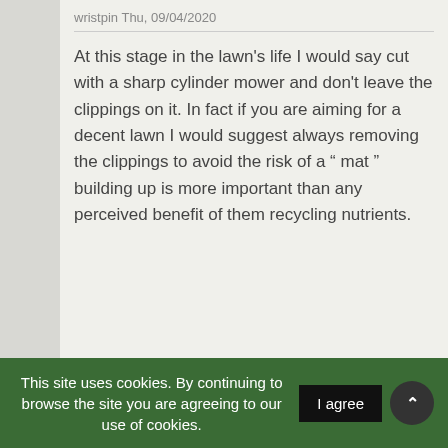wristpin Thu, 09/04/2020
At this stage in the lawn's life I would say cut with a sharp cylinder mower and don't leave the clippings on it. In fact if you are aiming for a decent lawn I would suggest always removing the clippings to avoid the risk of a “ mat ” building up is more important than any perceived benefit of them recycling nutrients.
This site uses cookies. By continuing to browse the site you are agreeing to our use of cookies.  I agree  ⌃